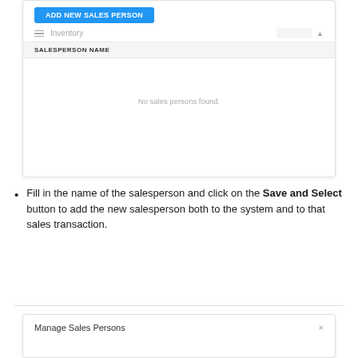[Figure (screenshot): UI screenshot showing a salesperson lookup panel with a blue 'Add New Sales Person' button, an 'Inventory' header, a 'SALESPERSON NAME' table column header, and an empty state message reading 'No sales persons found.']
Fill in the name of the salesperson and click on the Save and Select button to add the new salesperson both to the system and to that sales transaction.
[Figure (screenshot): UI screenshot showing the bottom portion of a 'Manage Sales Persons' panel with a close (×) button.]